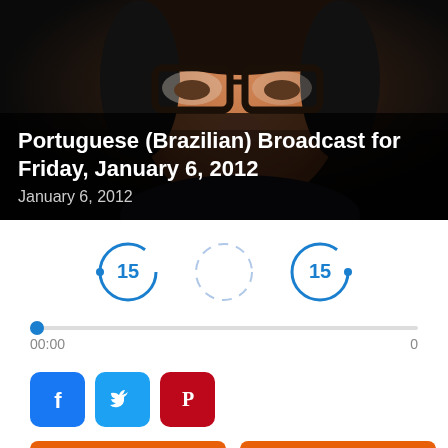[Figure (photo): Close-up photo of an older man wearing dark-rimmed glasses, photographed against a dark background]
Portuguese (Brazilian) Broadcast for Friday, January 6, 2012
January 6, 2012
[Figure (other): Audio player controls: rewind 15 seconds button, play/loading button, forward 15 seconds button; progress bar showing 00:00 / 0]
[Figure (other): Social sharing buttons: Facebook, Twitter, Pinterest]
PODCAST
FREE MP3